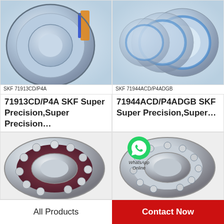[Figure (photo): SKF angular contact ball bearing 71913CD/P4A - silver/grey bearing with orange and blue accent, shown from angle]
SKF 71913CD/P4A
[Figure (photo): SKF angular contact ball bearing 71944ACD/P4ADGB - multiple stacked thin-section bearings with blue inner ring accents]
SKF 71944ACD/P4ADGB
71913CD/P4A SKF Super Precision,Super Precision…
71944ACD/P4ADGB SKF Super Precision,Super…
[Figure (photo): SKF angular contact ball bearing with dark maroon/brown cage and visible balls, shown at angle]
[Figure (photo): SKF angular contact ball bearing in silver/chrome, shown from side, with WhatsApp Online overlay icon]
All Products
Contact Now